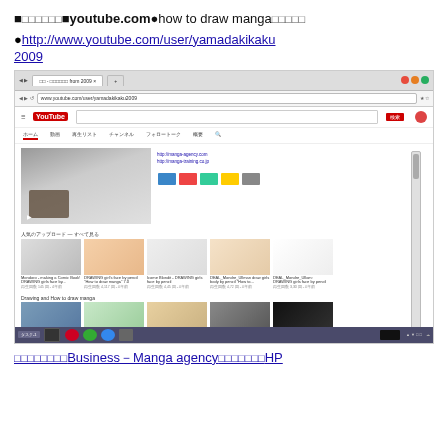■□□□□□■youtube.com●how to draw manga□□□□□
●http://www.youtube.com/user/yamadakikaku2009
[Figure (screenshot): Screenshot of YouTube channel page (yamadakikaku2009) showing 'how to draw manga' videos including a main featured video of a hand drawing and thumbnail rows of popular manga drawing tutorial videos. Chrome browser on Windows taskbar visible.]
□□□□□□□□Business－Manga agency□□□□□□□HP